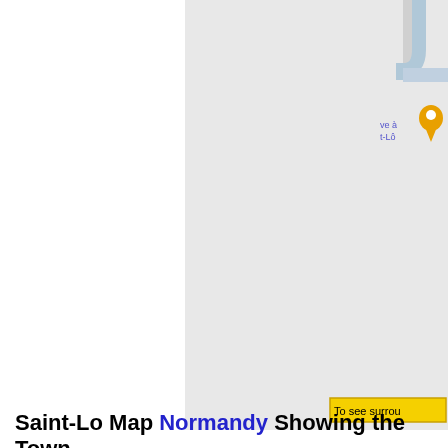[Figure (map): Partial Google Maps screenshot showing Saint-Lo area in Normandy. The map has a light grey background with roads. In the upper right corner there is an orange/yellow location pin marker and text labels in blue reading 've à' and 't-Lô'. A yellow button with black text reads 'To see surrou' (truncated) in the lower right of the map.]
Saint-Lo Map Normandy Showing the Town